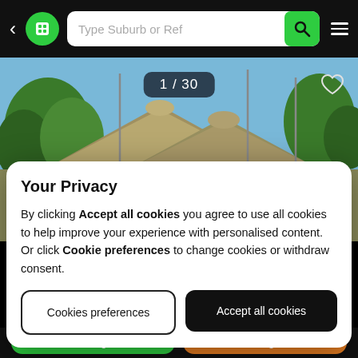[Figure (screenshot): Mobile property listing app screenshot showing navigation bar with back arrow, green logo, search field 'Type Suburb or Ref', and hamburger menu]
[Figure (photo): Photo of a thatched-roof house with blue sky and green trees, showing image counter '1 / 30' and heart icon]
Your Privacy
By clicking Accept all cookies you agree to use all cookies to help improve your experience with personalised content. Or click Cookie preferences to change cookies or withdraw consent.
Cookies preferences
Accept all cookies
Email Agent
Call Agent